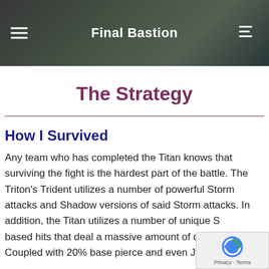Final Bastion
The Strategy
How I Survived
Any team who has completed the Titan knows that surviving the fight is the hardest part of the battle. The Triton’s Trident utilizes a number of powerful Storm attacks and Shadow versions of said Storm attacks. In addition, the Titan utilizes a number of unique Storm based hits that deal a massive amount of damage. Coupled with 20% base pierce and even Jade wizards...